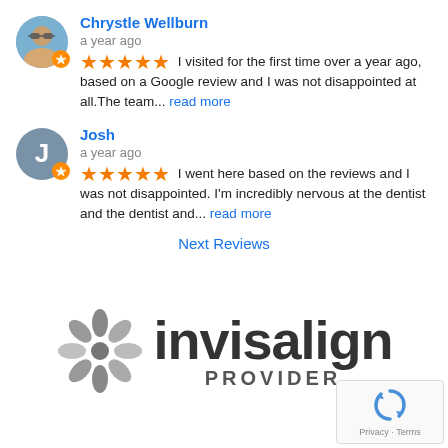Chrystle Wellburn
a year ago
I visited for the first time over a year ago, based on a Google review and I was not disappointed at all.The team... read more
Josh
a year ago
I went here based on the reviews and I was not disappointed. I'm incredibly nervous at the dentist and the dentist and... read more
Next Reviews
[Figure (logo): Invisalign Provider logo with snowflake-like decorative mark and text 'invisalign PROVIDER']
[Figure (logo): reCAPTCHA badge with Privacy and Terms links]